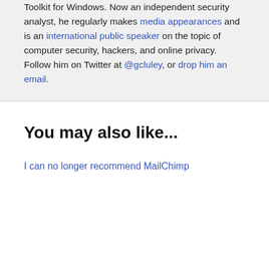Toolkit for Windows. Now an independent security analyst, he regularly makes media appearances and is an international public speaker on the topic of computer security, hackers, and online privacy. Follow him on Twitter at @gcluley, or drop him an email.
You may also like...
I can no longer recommend MailChimp